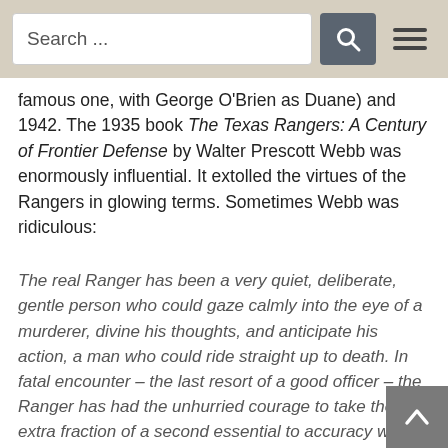[Figure (screenshot): Search bar with search button icon and hamburger menu icon on a tan/beige background header bar]
famous one, with George O'Brien as Duane) and 1942. The 1935 book The Texas Rangers: A Century of Frontier Defense by Walter Prescott Webb was enormously influential. It extolled the virtues of the Rangers in glowing terms. Sometimes Webb was ridiculous:
The real Ranger has been a very quiet, deliberate, gentle person who could gaze calmly into the eye of a murderer, divine his thoughts, and anticipate his action, a man who could ride straight up to death. In fatal encounter – the last resort of a good officer – the Ranger has had the unhurried courage to take the extra fraction of a second essential to accuracy which was at a premium in the art and the science of Western pistology.